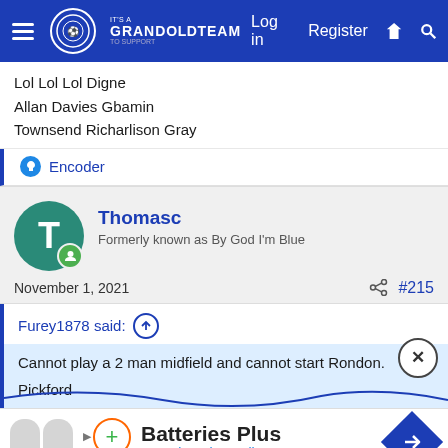GrandOldTeam — Log in  Register
Lol Lol Lol Digne
Allan Davies Gbamin
Townsend Richarlison Gray
Encoder
Thomasc
Formerly known as By God I'm Blue
November 1, 2021  #215
Furey1878 said:
Cannot play a 2 man midfield and cannot start Rondon.
Pickford
[Figure (screenshot): Advertisement: Batteries Plus / Batteries Plus Bulbs with logo and arrow icon]